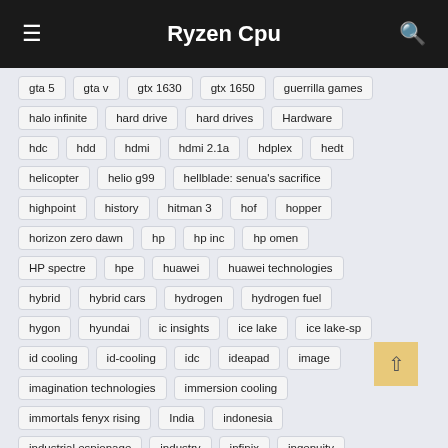Ryzen Cpu
gta 5
gta v
gtx 1630
gtx 1650
guerrilla games
halo infinite
hard drive
hard drives
Hardware
hdc
hdd
hdmi
hdmi 2.1a
hdplex
hedt
helicopter
helio g99
hellblade: senua's sacrifice
highpoint
history
hitman 3
hof
hopper
horizon zero dawn
hp
hp inc
hp omen
HP spectre
hpe
huawei
huawei technologies
hybrid
hybrid cars
hydrogen
hydrogen fuel
hygon
hyundai
ic insights
ice lake
ice lake-sp
id cooling
id-cooling
idc
ideapad
image
imagination technologies
immersion cooling
immortals fenyx rising
India
indonesia
industrial espionage
industry
infinix
ingenuity